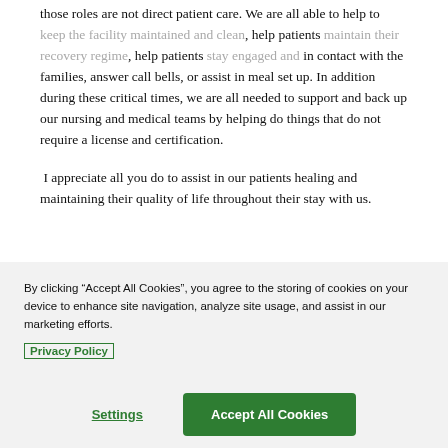those roles are not direct patient care.  We are all able to help to keep the facility maintained and clean, help patients maintain their recovery regime, help patients stay engaged and in contact with the families, answer call bells, or assist in meal set up.  In addition during these critical times, we are all needed to support and back up our nursing and medical teams by helping do things that do not require a license and certification.
I appreciate all you do to assist in our patients healing and maintaining their quality of life throughout their stay with us.
By clicking “Accept All Cookies”, you agree to the storing of cookies on your device to enhance site navigation, analyze site usage, and assist in our marketing efforts.
Privacy Policy
Settings
Accept All Cookies